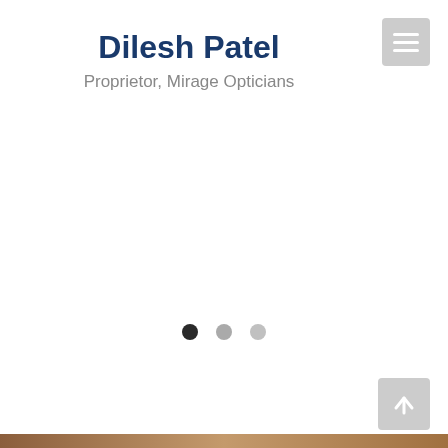Dilesh Patel
Proprietor, Mirage Opticians
[Figure (other): Navigation menu button (hamburger icon) in top right corner]
[Figure (other): Carousel dot indicators: three dots, first one dark/active, second and third light grey]
[Figure (other): Scroll-to-top button with upward arrow in bottom right corner]
[Figure (photo): Partial bottom edge showing a wooden/brown surface at the very bottom of the page]